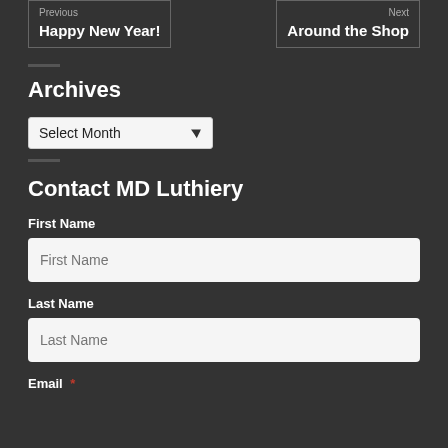Previous
Happy New Year!
Next
Around the Shop
Archives
Select Month
Contact MD Luthiery
First Name
Last Name
Email *